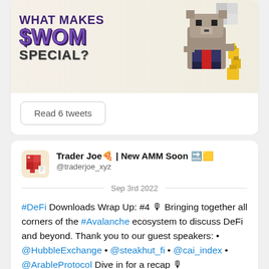[Figure (illustration): Promotional banner image with text 'WHAT MAKES $WOM SPECIAL?' with pixel art characters including a bear in a suit and small yellow pixel characters on a light beige background]
Read 6 tweets
[Figure (illustration): Avatar icon for Trader Joe - red pixel art block character]
Trader Joe🍕 | New AMM Soon 🔜🟨 @traderjoe_xyz
Sep 3rd 2022
#DeFi Downloads Wrap Up: #4 🎙 Bringing together all corners of the #Avalanche ecosystem to discuss DeFi and beyond. Thank you to our guest speakers: • @HubbleExchange • @steakhut_fi • @cai_index • @ArableProtocol Dive in for a recap 🎙